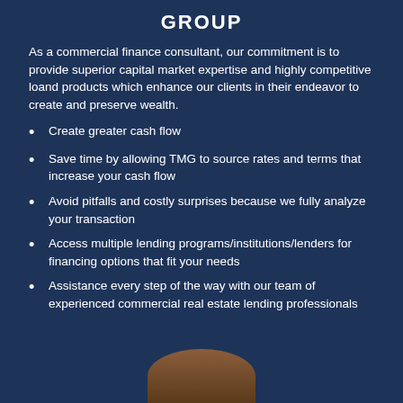GROUP
As a commercial finance consultant, our commitment is to provide superior capital market expertise and highly competitive loand products which enhance our clients in their endeavor to create and preserve wealth.
Create greater cash flow
Save time by allowing TMG to source rates and terms that increase your cash flow
Avoid pitfalls and costly surprises because we fully analyze your transaction
Access multiple lending programs/institutions/lenders for financing options that fit your needs
Assistance every step of the way with our team of experienced commercial real estate lending professionals
[Figure (photo): Photo of a person, partially visible at bottom of page]